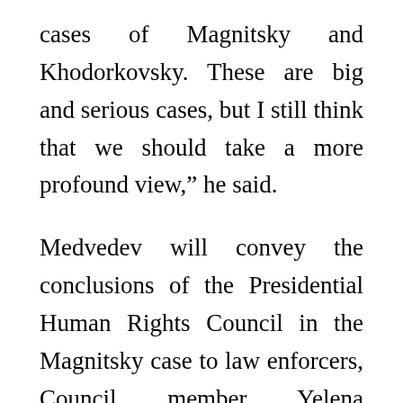cases of Magnitsky and Khodorkovsky. These are big and serious cases, but I still think that we should take a more profound view,” he said.
Medvedev will convey the conclusions of the Presidential Human Rights Council in the Magnitsky case to law enforcers, Council member Yelena Panfilova told reporters earlier in the day.
The report will be submitted to the Russian